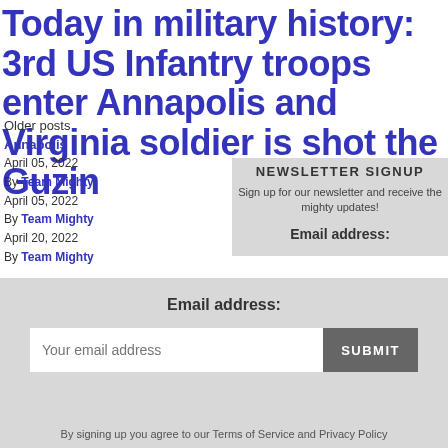Today in military history: 3rd US Infantry troops enter Annapolis and Virginia soldier is shot the Guzin
Older posts
April 05, 2022
By Team Mighty
April 05, 2022
By Team Mighty
April 20, 2022
By Team Mighty
NEWSLETTER SIGNUP
Sign up for our newsletter and receive the mighty updates!
Email address:
Your email address
SUBMIT
By signing up you agree to our Terms of Service and Privacy Policy